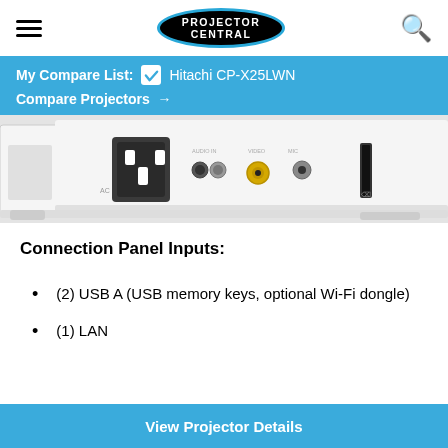PROJECTOR CENTRAL
My Compare List: ☑ Hitachi CP-X25LWN
Compare Projectors →
[Figure (photo): Close-up photo of the Hitachi CP-X25LWN projector connection panel showing AC power input, Audio In port, yellow Video RCA connector, MIC input, and USB port on a white chassis]
Connection Panel Inputs:
(2) USB A (USB memory keys, optional Wi-Fi dongle)
(1) LAN
View Projector Details